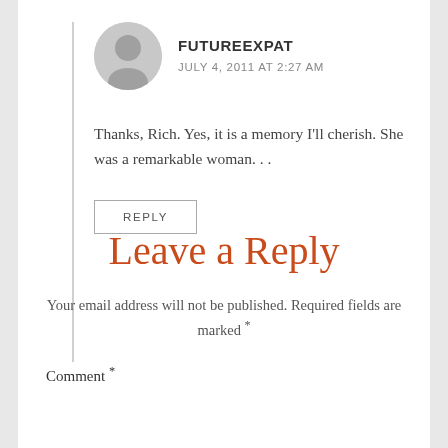FUTUREEXPAT
JULY 4, 2011 AT 2:27 AM
Thanks, Rich. Yes, it is a memory I'll cherish. She was a remarkable woman. . .
REPLY
Leave a Reply
Your email address will not be published. Required fields are marked *
Comment *